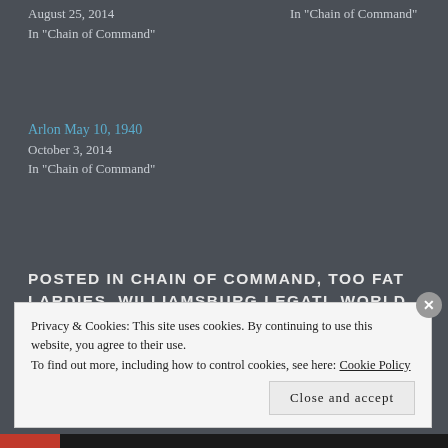August 25, 2014
In "Chain of Command"
In "Chain of Command"
Arlon May 10, 1940
October 3, 2014
In "Chain of Command"
POSTED IN CHAIN OF COMMAND, TOO FAT LARDIES, WILLIAMSBURG LEGATI, WORLD WAR II. TAGGED CHAIN OF COMMAND, TOO FAT LARDIES, WORLD WAR II.
Privacy & Cookies: This site uses cookies. By continuing to use this website, you agree to their use.
To find out more, including how to control cookies, see here: Cookie Policy
Close and accept